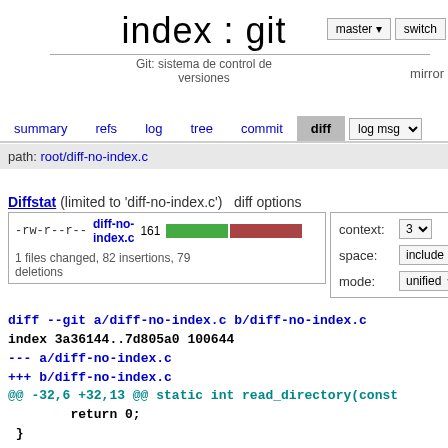index : git
Git: sistema de control de versiones
mirror
summary   refs   log   tree   commit   diff   log msg
path: root/diff-no-index.c
Diffstat (limited to 'diff-no-index.c')   diff options
| -rw-r--r-- | diff-no-index.c | 161 | [bar] |
| --- | --- | --- | --- |
| 1 files changed, 82 insertions, 79 deletions |  |  |  |
context: 3
space: include
mode: unified
diff --git a/diff-no-index.c b/diff-no-index.c
index 3a36144..7d805a0 100644
--- a/diff-no-index.c
+++ b/diff-no-index.c
@@ -32,6 +32,13 @@ static int read_directory(const
        return 0;
 }